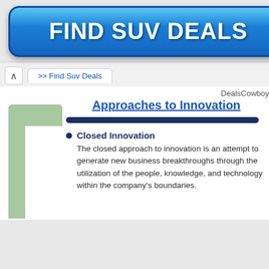[Figure (other): Blue gradient rounded button advertisement reading FIND SUV DEALS in large bold white text]
>> Find Suv Deals
DealsCowboy
Approaches to Innovation
Closed Innovation
The closed approach to innovation is an attempt to generate new business breakthroughs through the utilization of the people, knowledge, and technology within the company's boundaries.